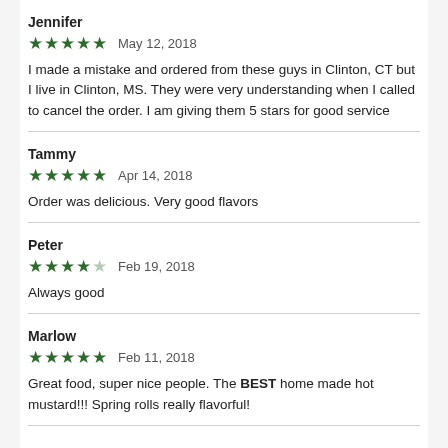Jennifer
★★★★★  May 12, 2018
I made a mistake and ordered from these guys in Clinton, CT but I live in Clinton, MS. They were very understanding when I called to cancel the order. I am giving them 5 stars for good service
Tammy
★★★★★  Apr 14, 2018
Order was delicious. Very good flavors
Peter
★★★★☆  Feb 19, 2018
Always good
Marlow
★★★★★  Feb 11, 2018
Great food, super nice people. The BEST home made hot mustard!!! Spring rolls really flavorful!